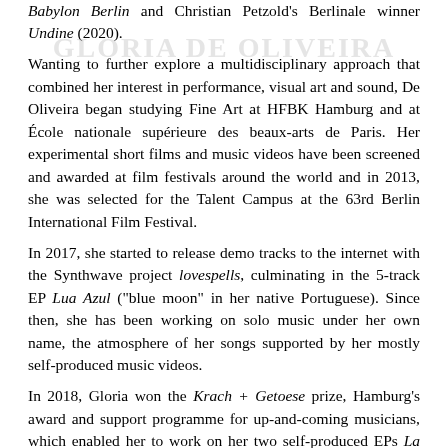Babylon Berlin and Christian Petzold's Berlinale winner Undine (2020).
Wanting to further explore a multidisciplinary approach that combined her interest in performance, visual art and sound, De Oliveira began studying Fine Art at HFBK Hamburg and at École nationale supérieure des beaux-arts de Paris. Her experimental short films and music videos have been screened and awarded at film festivals around the world and in 2013, she was selected for the Talent Campus at the 63rd Berlin International Film Festival.
In 2017, she started to release demo tracks to the internet with the Synthwave project lovespells, culminating in the 5-track EP Lua Azul ("blue moon" in her native Portuguese). Since then, she has been working on solo music under her own name, the atmosphere of her songs supported by her mostly self-produced music videos.
In 2018, Gloria won the Krach + Getoese prize, Hamburg's award and support programme for up-and-coming musicians, which enabled her to work on her two self-produced EPs La Rose de Fer and Lèvres de Sang (named after the vampire film